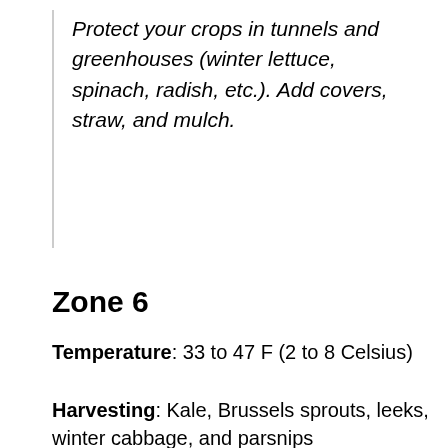Protect your crops in tunnels and greenhouses (winter lettuce, spinach, radish, etc.). Add covers, straw, and mulch.
Zone 6
Temperature: 33 to 47 F (2 to 8 Celsius)
Harvesting: Kale, Brussels sprouts, leeks, winter cabbage, and parsnips